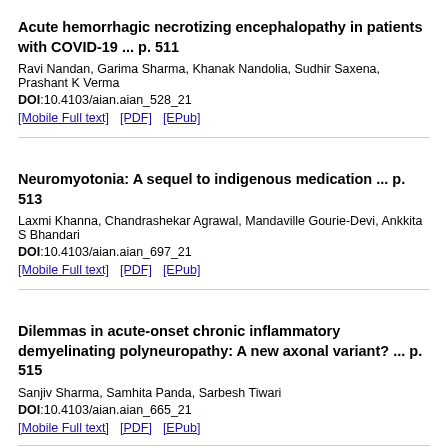Acute hemorrhagic necrotizing encephalopathy in patients with COVID-19 ... p. 511
Ravi Nandan, Garima Sharma, Khanak Nandolia, Sudhir Saxena, Prashant K Verma
DOI:10.4103/aian.aian_528_21
[Mobile Full text]  [PDF]  [EPub]
Neuromyotonia: A sequel to indigenous medication ... p. 513
Laxmi Khanna, Chandrashekar Agrawal, Mandaville Gourie-Devi, Ankkita S Bhandari
DOI:10.4103/aian.aian_697_21
[Mobile Full text]  [PDF]  [EPub]
Dilemmas in acute-onset chronic inflammatory demyelinating polyneuropathy: A new axonal variant? ... p. 515
Sanjiv Sharma, Samhita Panda, Sarbesh Tiwari
DOI:10.4103/aian.aian_665_21
[Mobile Full text]  [PDF]  [EPub]